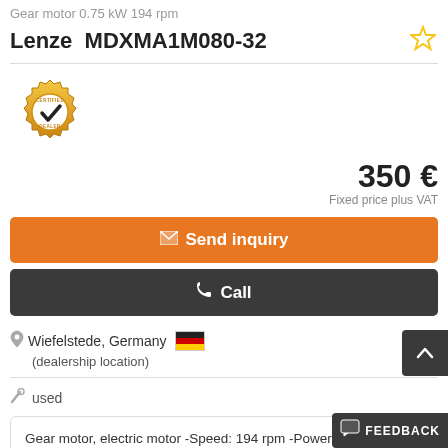Gear motor 0.75 kW 194 rpm
Lenze  MDXMA1M080-32
[Figure (logo): Certified Dealer gold gear badge with checkmark]
350 €
Fixed price plus VAT
Send inquiry
Call
Wiefelstede, Germany
(dealership location)
used
Gear motor, electric motor -Speed: 194 rpm -Power: 0.75 kW -Construction: B3 -Diameter hollow shaft: 34 mm -Protection class: IP 55 -Number 1x motors